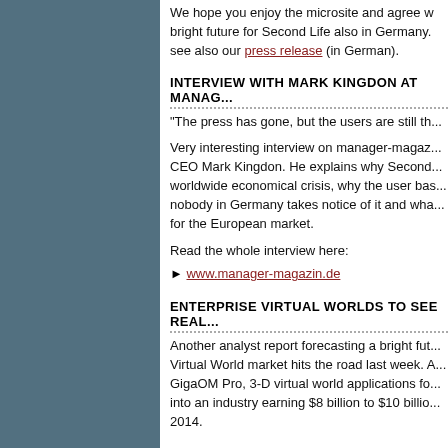We hope you enjoy the microsite and agree with us that there is a bright future for Second Life also in Germany. see also our press release (in German).
INTERVIEW WITH MARK KINGDON AT MANAG...
"The press has gone, but the users are still th...
Very interesting interview on manager-magaz... CEO Mark Kingdon. He explains why Second... worldwide economical crisis, why the user bas... nobody in Germany takes notice of it and wha... for the European market.
Read the whole interview here:
► www.manager-magazin.de
ENTERPRISE VIRTUAL WORLDS TO SEE REAL...
Another analyst report forecasting a bright fut... Virtual World market hits the road last week. A... GigaOM Pro, 3-D virtual world applications fo... into an industry earning $8 billion to $10 billio... 2014.